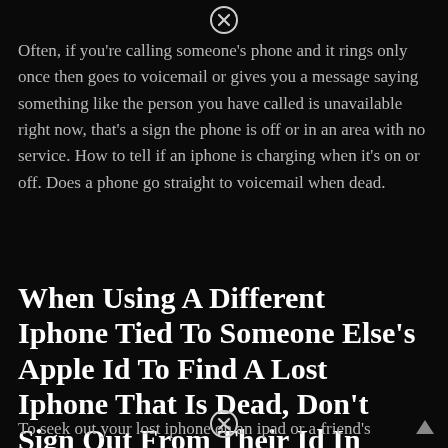[Figure (other): Close/dismiss button (circle with X) at top center]
Often, if you're calling someone's phone and it rings only once then goes to voicemail or gives you a message saying something like the person you have called is unavailable right now, that's a sign the phone is off or in an area with no service. How to tell if an iphone is charging when it's on or off. Does a phone go straight to voicemail when dead.
When Using A Different Iphone Tied To Someone Else's Apple Id To Find A Lost Iphone That Is Dead, Don't Sign Out From Their Id In Settings;
To seek out your lost iphone on an ipad or a friend's
[Figure (other): Close/dismiss button (circle with X) at bottom center]